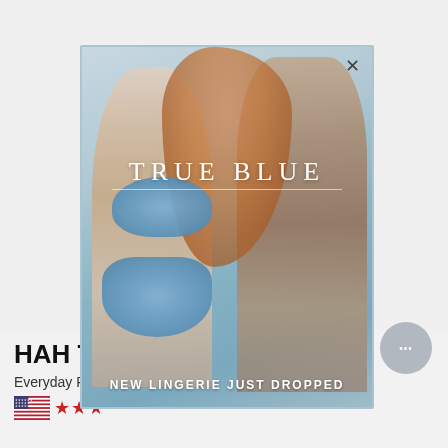We Are HAH
[Figure (photo): Fashion modal popup showing two models wearing blue lace lingerie (bra and thong set) with text overlay 'TRUE BLUE' and 'NEW LINGERIE JUST DROPPED'. An orange/terracotta artistic overlay is blended in the center.]
HAH T String Me A Thong
Everyday Recycled Lace Thong